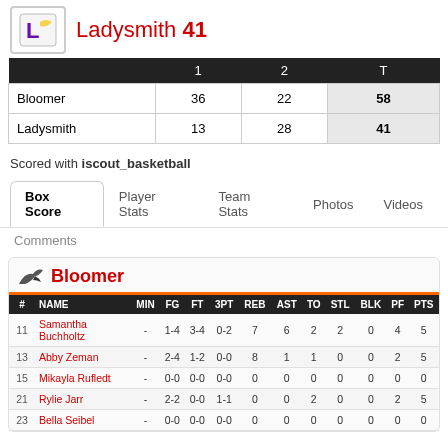Ladysmith 41
|  | 1 | 2 | T |
| --- | --- | --- | --- |
| Bloomer | 36 | 22 | 58 |
| Ladysmith | 13 | 28 | 41 |
Scored with iscout_basketball
Box Score | Player Stats | Team Stats | Photos | Videos
Comments
Bloomer
| # | NAME | MIN | FG | FT | 3PT | REB | AST | TO | STL | BLK | PF | PTS |
| --- | --- | --- | --- | --- | --- | --- | --- | --- | --- | --- | --- | --- |
| 11 | Samantha Buchholtz | - | 1-4 | 3-4 | 0-2 | 7 | 6 | 2 | 2 | 0 | 4 | 5 |
| 13 | Abby Zeman | - | 2-4 | 1-2 | 0-0 | 8 | 1 | 1 | 0 | 0 | 2 | 5 |
| 15 | Mikayla Rufledt | - | 0-0 | 0-0 | 0-0 | 0 | 0 | 0 | 0 | 0 | 0 | 0 |
| 21 | Rylie Jarr | - | 2-2 | 0-0 | 1-1 | 0 | 0 | 2 | 0 | 0 | 2 | 5 |
| 23 | Bella Seibel | - | 0-0 | 0-0 | 0-0 | 0 | 0 | 0 | 0 | 0 | 0 | 0 |